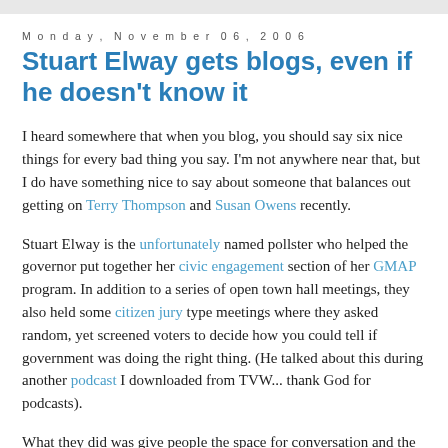Monday, November 06, 2006
Stuart Elway gets blogs, even if he doesn't know it
I heard somewhere that when you blog, you should say six nice things for every bad thing you say. I'm not anywhere near that, but I do have something nice to say about someone that balances out getting on Terry Thompson and Susan Owens recently.
Stuart Elway is the unfortunately named pollster who helped the governor put together her civic engagement section of her GMAP program. In addition to a series of open town hall meetings, they also held some citizen jury type meetings where they asked random, yet screened voters to decide how you could tell if government was doing the right thing. (He talked about this during another podcast I downloaded from TVW... thank God for podcasts).
What they did was give people the space for conversation and the indication that what they said would matter. And, it worked, people